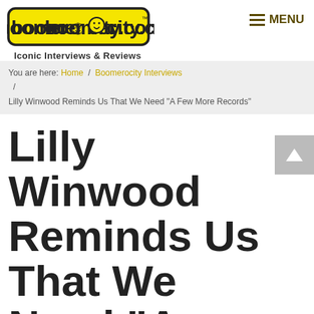boomerocity.com — Iconic Interviews & Reviews — MENU
You are here: Home / Boomerocity Interviews / Lilly Winwood Reminds Us That We Need "A Few More Records"
Lilly Winwood Reminds Us That We Need "A Few More Records"